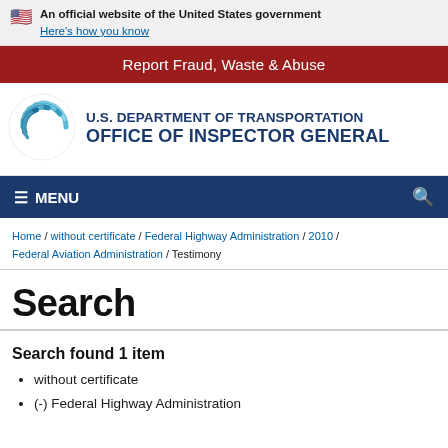An official website of the United States government Here's how you know
Report Fraud, Waste & Abuse
[Figure (logo): U.S. Department of Transportation Office of Inspector General logo with circular swirl emblem]
U.S. DEPARTMENT OF TRANSPORTATION OFFICE OF INSPECTOR GENERAL
≡ MENU
Home / without certificate / Federal Highway Administration / 2010 / Federal Aviation Administration / Testimony
Search
Search found 1 item
without certificate
(-) Federal Highway Administration